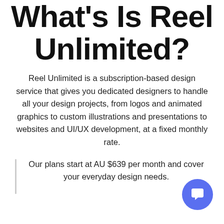What's Is Reel Unlimited?
Reel Unlimited is a subscription-based design service that gives you dedicated designers to handle all your design projects, from logos and animated graphics to custom illustrations and presentations to websites and UI/UX development, at a fixed monthly rate.
Our plans start at AU $639 per month and cover your everyday design needs.
[Figure (illustration): Circular chat/support button with speech bubble icon in blue/purple color, positioned in bottom-right corner]